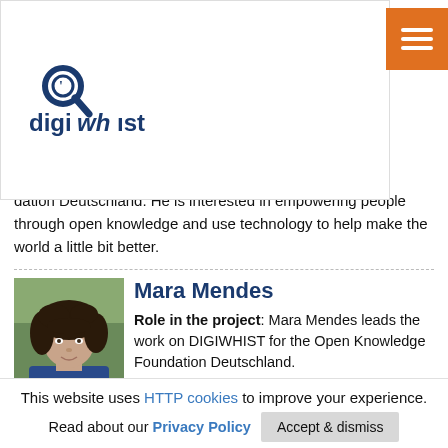of media, technology and society. He works as an
[Figure (logo): Digiwhist logo with magnifying glass icon and the text 'digiwhist' in dark blue]
dation Deutschland. He is interested in empowering people through open knowledge and use technology to help make the world a little bit better.
[Figure (photo): Portrait photo of Mara Mendes, a woman with curly dark hair]
Mara Mendes
Role in the project: Mara Mendes leads the work on DIGIWHIST for the Open Knowledge Foundation Deutschland.
Biography: Prior to this she worked with Transparency International (TI) Secretariat rolling out TI's campaigns and advising TI's chapters on their campaigning and advocacy strategies. In addition Mara has gained
This website uses HTTP cookies to improve your experience.
Read about our Privacy Policy   Accept & dismiss